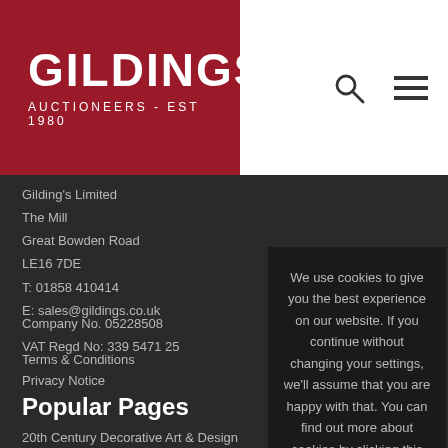[Figure (logo): Gildings Auctioneers logo — white text on dark red background. Large text GILDINGS above smaller AUCTIONEERS - EST 1980]
Gilding's Limited
The Mill
Great Bowden Road
LE16 7DE
T: 01858 410414
E: sales@gildings.co.uk

Company No. 05228508
VAT Regd No: 339 5471 25
Terms & Conditions
Privacy Notice
We use cookies to give you the best experience on our website. If you continue without changing your settings, we'll assume that you are happy with that. You can find out more about cookies by clicking this link.
OK
Popular Pages
20th Century Decorative Art & Design